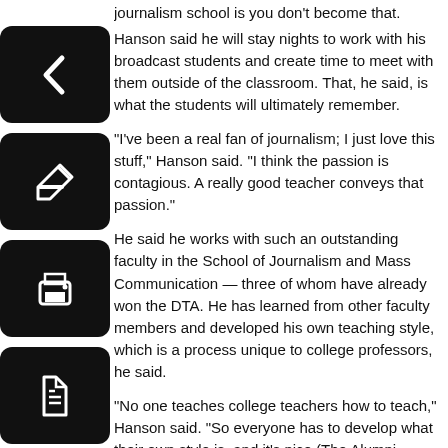journalism school is you don't become that.
Hanson said he will stay nights to work with his broadcast students and create time to meet with them outside of the classroom. That, he said, is what the students will ultimately remember.
“I've been a real fan of journalism; I just love this stuff,” Hanson said. “I think the passion is contagious. A really good teacher conveys that passion.”
He said he works with such an outstanding faculty in the School of Journalism and Mass Communication — three of whom have already won the DTA. He has learned from other faculty members and developed his own teaching style, which is a process unique to college professors, he said.
“No one teaches college teachers how to teach,” Hanson said. “So everyone has to develop what their own style is, and it's nice (The Alumni Association) is recognizing that.”
His strengths as a professor include breaking down information into relatable bits and, second, spending the quality time it takes to build a relationship with individual students.
“It’s about being able to take the information and lay it out in a